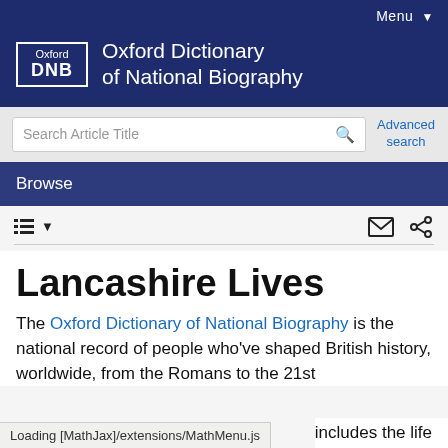Menu
Oxford Dictionary of National Biography
Search Article Title
Advanced search
Browse
Lancashire Lives
The Oxford Dictionary of National Biography is the national record of people who've shaped British history, worldwide, from the Romans to the 21st ... includes the life
Loading [MathJax]/extensions/MathMenu.js